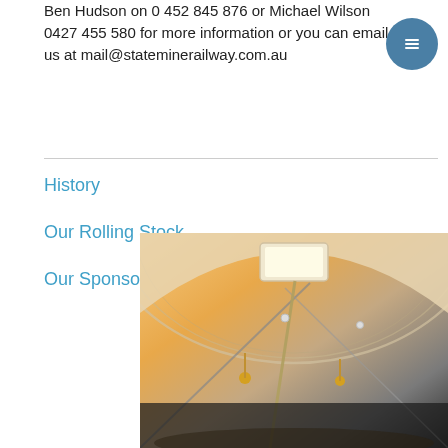Ben Hudson on 0 452 845 876 or Michael Wilson 0427 455 580 for more information or you can email us at mail@stateminerailway.com.au
History
Our Rolling Stock
Our Sponsors
[Figure (photo): Interior ceiling view of a vintage railway carriage showing curved ceiling panels, lighting fixtures, and polished metalwork against a warm sunset-toned background]